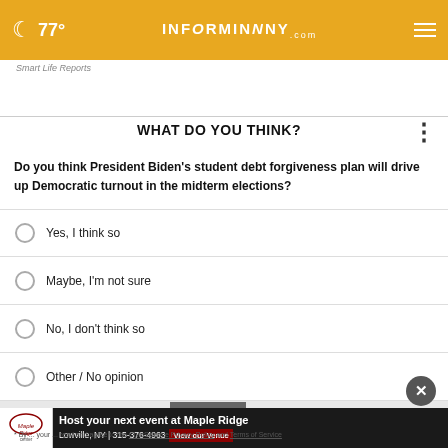77° INFORMNNY.com
Smart Life Reports
WHAT DO YOU THINK?
Do you think President Biden's student debt forgiveness plan will drive up Democratic turnout in the midterm elections?
Yes, I think so
Maybe, I'm not sure
No, I don't think so
Other / No opinion
[Figure (other): Maple Ridge Center advertisement: Host your next event at Maple Ridge, Lowville, NY | 315-376-4963, View our Venue]
* By ... your ... read and agree to the CivicScience Privacy Policy and Terms of Service